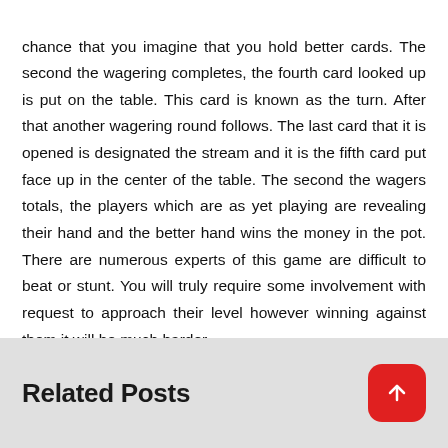chance that you imagine that you hold better cards. The second the wagering completes, the fourth card looked up is put on the table. This card is known as the turn. After that another wagering round follows. The last card that it is opened is designated the stream and it is the fifth card put face up in the center of the table. The second the wagers totals, the players which are as yet playing are revealing their hand and the better hand wins the money in the pot. There are numerous experts of this game are difficult to beat or stunt. You will truly require some involvement with request to approach their level however winning against them it will be much harder.
Related Posts